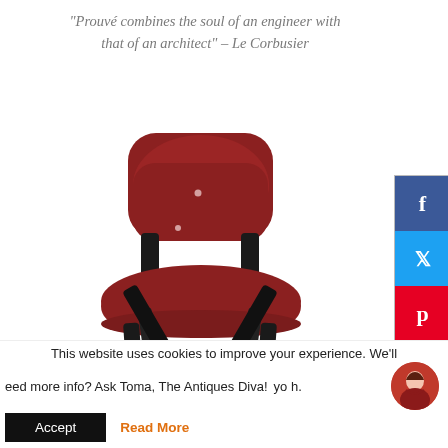“Prouvé combines the soul of an engineer with that of an architect” – Le Corbusier
[Figure (photo): A Jean Prouvé Standard chair with dark black metal frame and red/burgundy molded seat and backrest, photographed against a white background.]
This website uses cookies to improve your experience. We'll
eed more info? Ask Toma, The Antiques Diva!
yo h.
Accept
Read More